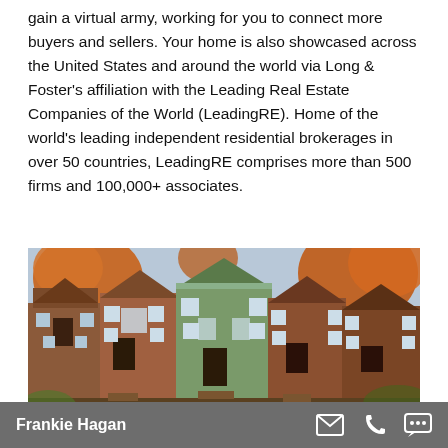gain a virtual army, working for you to connect more buyers and sellers. Your home is also showcased across the United States and around the world via Long & Foster's affiliation with the Leading Real Estate Companies of the World (LeadingRE). Home of the world's leading independent residential brokerages in over 50 countries, LeadingRE comprises more than 500 firms and 100,000+ associates.
[Figure (photo): Exterior photograph of a row of Victorian-style brick townhouses with autumn foliage in the foreground and trees with orange/red leaves.]
Frankie Hagan